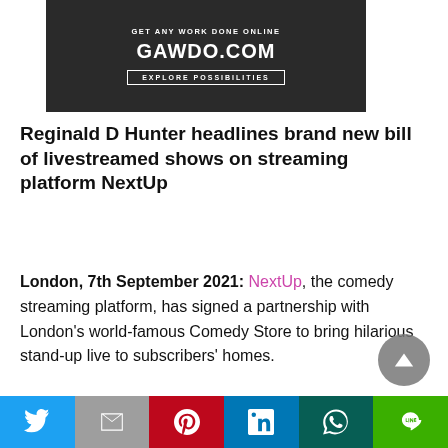[Figure (infographic): Advertisement banner for GAWDO.COM with text 'GET ANY WORK DONE ONLINE', 'GAWDO.COM', and 'EXPLORE POSSIBILITIES' button on dark background]
Reginald D Hunter headlines brand new bill of livestreamed shows on streaming platform NextUp
London, 7th September 2021: NextUp, the comedy streaming platform, has signed a partnership with London's world-famous Comedy Store to bring hilarious stand-up live to subscribers' homes.
[Figure (infographic): Social sharing bar with buttons for Twitter, Gmail, Pinterest, LinkedIn, WhatsApp, and LINE]